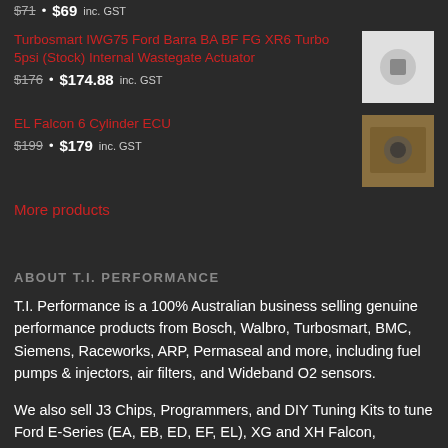$71 • $69 inc. GST
Turbosmart IWG75 Ford Barra BA BF FG XR6 Turbo 5psi (Stock) Internal Wastegate Actuator
$176 • $174.88 inc. GST
EL Falcon 6 Cylinder ECU
$199 • $179 inc. GST
More products
ABOUT T.I. PERFORMANCE
T.I. Performance is a 100% Australian business selling genuine performance products from Bosch, Walbro, Turbosmart, BMC, Siemens, Raceworks, ARP, Permaseal and more, including fuel pumps & injectors, air filters, and Wideband O2 sensors.
We also sell J3 Chips, Programmers, and DIY Tuning Kits to tune Ford E-Series (EA, EB, ED, EF, EL), XG and XH Falcon, Fairmont, Fairlane, XR6 and XR8 models.